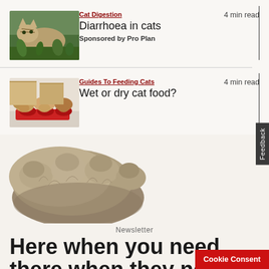[Figure (photo): Photo of a tabby cat crouching in green grass outdoors]
Cat Digestion
4 min read
Diarrhoea in cats
Sponsored by Pro Plan
[Figure (photo): Photo of cats eating from red bowls on the floor]
Guides To Feeding Cats
4 min read
Wet or dry cat food?
[Figure (photo): Close-up photo of a fluffy cat paw resting on white background]
Newsletter
Here when you need us
there when they need
Feedback
Cookie Consent